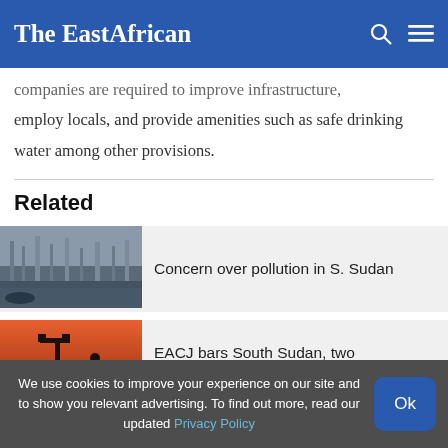The EastAfrican
companies are required to improve infrastructure, employ locals, and provide amenities such as safe drinking water among other provisions.
Related
[Figure (photo): Industrial/water infrastructure scene, grayscale, showing pipes and reflections in water]
Concern over pollution in S. Sudan
[Figure (photo): Oil field pump jack silhouette against orange/red sunset sky with worker]
EACJ bars South Sudan, two
We use cookies to improve your experience on our site and to show you relevant advertising. To find out more, read our updated Privacy Policy